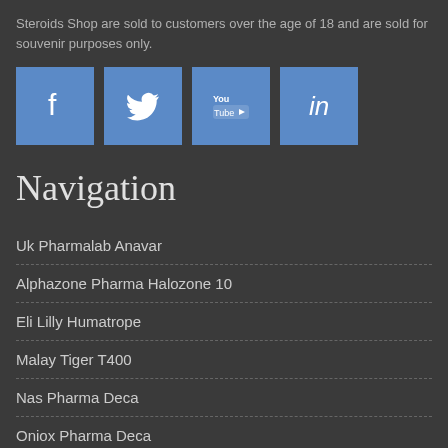Steroids Shop are sold to customers over the age of 18 and are sold for souvenir purposes only.
[Figure (other): Four social media icon buttons: Facebook, Twitter, YouTube, LinkedIn]
Navigation
Uk Pharmalab Anavar
Alphazone Pharma Halozone 10
Eli Lilly Humatrope
Malay Tiger T400
Nas Pharma Deca
Oniox Pharma Deca